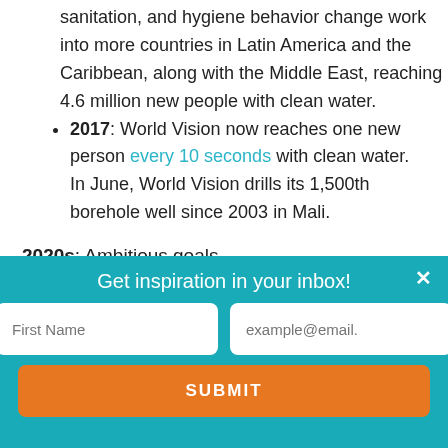sanitation, and hygiene behavior change work into more countries in Latin America and the Caribbean, along with the Middle East, reaching 4.6 million new people with clean water.
2017: World Vision now reaches one new person every 10 seconds with clean water. In June, World Vision drills its 1,500th borehole well since 2003 in Mali.
2020s: Ambitious goals
Get inspiration in your inbox!
First Name | example@email.
SUBMIT